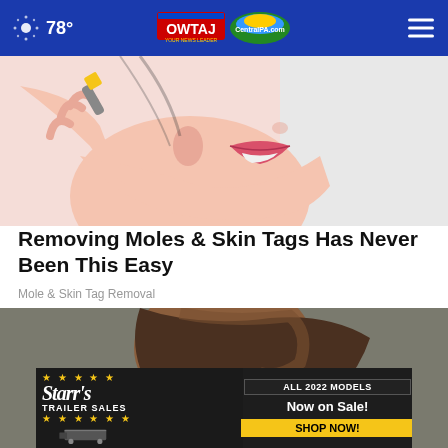78° OWTAJ CentralPA.com
[Figure (illustration): Illustration of a woman's face from chin up, applying something near her ear/cheek. Cartoon/comic style with pink skin tones and red lips.]
Removing Moles & Skin Tags Has Never Been This Easy
Mole & Skin Tag Removal
[Figure (photo): Photo of a woman with dark hair bent downward, looking down. Gray background. A circular close (X) button overlaid at right.]
[Figure (other): Advertisement banner for Starr's Trailer Sales: 'ALL 2022 MODELS Now on Sale! SHOP NOW!']